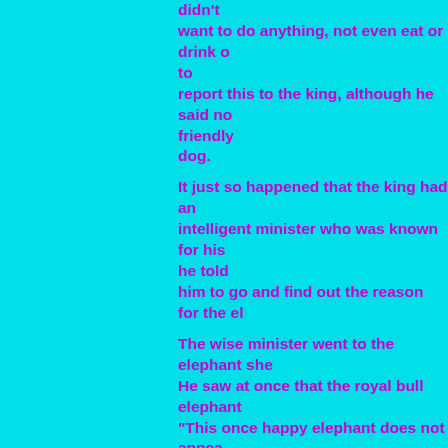didn't want to do anything, not even eat or drink or to report this to the king, although he said no friendly dog.

It just so happened that the king had an intelligent minister who was known for his he told him to go and find out the reason for the el

The wise minister went to the elephant she He saw at once that the royal bull elephant "This once happy elephant does not appea have seen this condition before, in men ane is grief-stricken, probably due to the loss of a

Then he said to the guards and attendants, "I find no sickness. He seems to be grief-st friend. Do you know if this elephant had a v anyone?"

They told him how the royal elephant and t stray dog were best friends. "What happen the minister. He was taken by an unknown do not know where he is now."

The minister returned to the king and said,